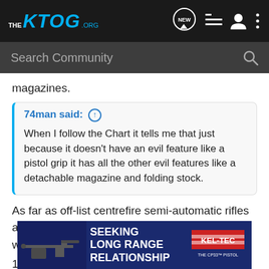[Figure (screenshot): KTOG.org website navigation bar with logo, NEW button, list icon, user icon, and dots menu icon on dark background]
[Figure (screenshot): Dark gray search bar with 'Search Community' placeholder text and magnifying glass icon]
magazines.
74man said: ↑
When I follow the Chart it tells me that just because it doesn't have an evil feature like a pistol grip it has all the other evil features like a detachable magazine and folding stock.
As far as off-list centrefire semi-automatic rifles are concerned, there are only three ways in which it can be an "assault weapon":
1) Does not have a fixed magazine and has at least one "evil feature".
2) Has a fixed magazine and that fixed magazine takes more than 10
3) Is les
[Figure (photo): Advertisement banner: Kel-Tec CP33 pistol seeking long range relationship ad on blue background]